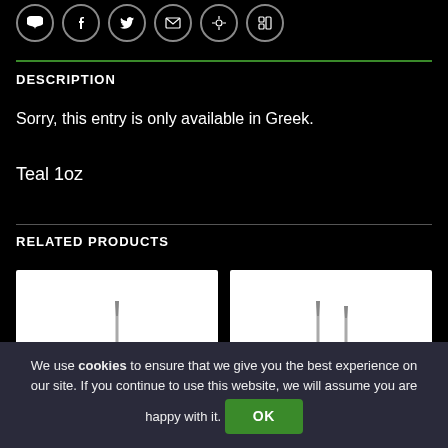[Figure (other): Social sharing icon buttons row: WhatsApp, Facebook, Twitter, Email, Pinterest, LinkedIn]
DESCRIPTION
Sorry, this entry is only available in Greek.
Teal 1oz
RELATED PRODUCTS
[Figure (photo): Two white product card thumbnails showing small product images]
We use cookies to ensure that we give you the best experience on our site. If you continue to use this website, we will assume you are happy with it. OK